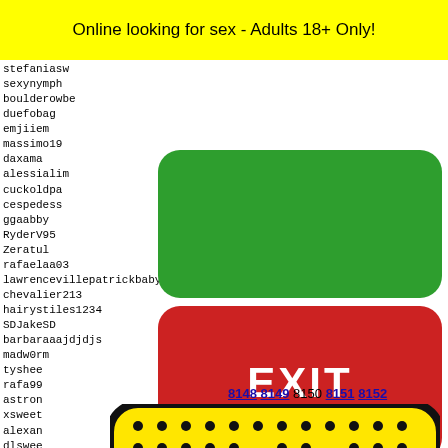Online looking for sex - Adults 18+ Only!
stefaniasw
sexynymph
boulderowbe
duefobag
emjiiem
massimo19
daxama
alessialim
cuckoldpa
cespedess
ggaabby
RyderV95
Zeratul
rafaelaa03
lawrencevillepatrickbaby
chevalier213
hairystiles1234
SDJakeSD
barbaraaajdjdjs
madw0rm
tyshee
rafa99
astron
xsweet
alexan
dlswee
[Figure (other): Green rounded rectangle button (no label)]
[Figure (other): Red rounded rectangle EXIT button with white EXIT text]
8148 8149 8150 8151 8152
[Figure (other): Snapchat ghost logo on yellow background with rounded black border]